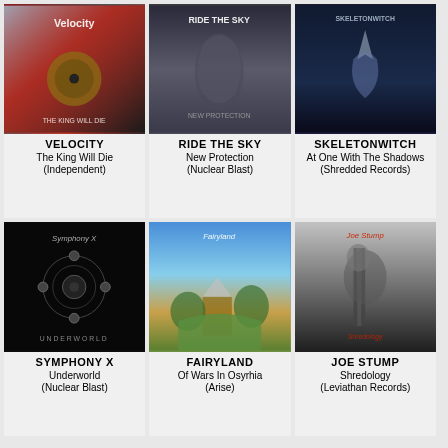[Figure (photo): Album cover for Velocity - The King Will Die]
VELOCITY
The King Will Die
(Independent)
[Figure (photo): Album cover for Ride The Sky - New Protection]
RIDE THE SKY
New Protection
(Nuclear Blast)
[Figure (photo): Album cover for Skeletonwitch - At One With The Shadows]
SKELETONWITCH
At One With The Shadows
(Shredded Records)
[Figure (photo): Album cover for Symphony X - Underworld]
SYMPHONY X
Underworld
(Nuclear Blast)
[Figure (photo): Album cover for Fairyland - Of Wars In Osyrhia]
FAIRYLAND
Of Wars In Osyrhia
(Arise)
[Figure (photo): Album cover for Joe Stump - Shredology]
JOE STUMP
Shredology
(Leviathan Records)